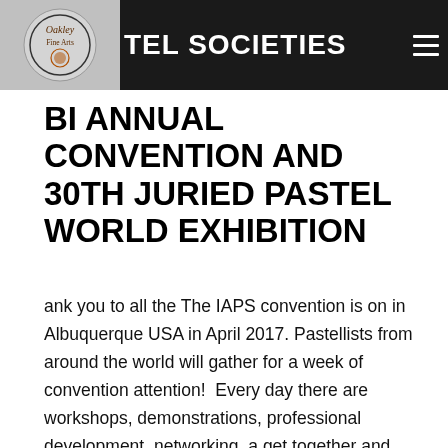ASSOCIATION OF PASTEL SOCIETIES
BI ANNUAL CONVENTION AND 30TH JURIED PASTEL WORLD EXHIBITION
ank you to all the The IAPS convention is on in Albuquerque USA in April 2017. Pastellists from around the world will gather for a week of convention attention!  Every day there are workshops, demonstrations, professional development, networking, a get together and dinners, a trade show to blow the budget and the 30th Juried Pastel World Exhibition. My painting "Rhythm of Life", shown above, has been juried in to this prestigious Awards and Exhibition. Am I